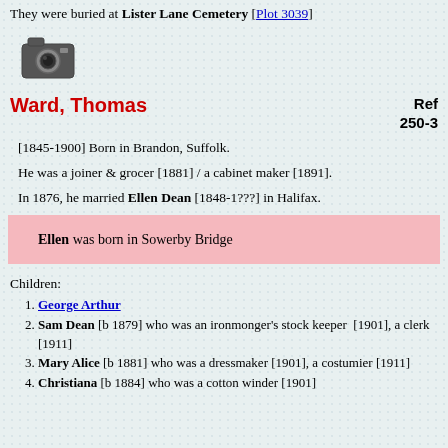They were buried at Lister Lane Cemetery [Plot 3039]
[Figure (photo): Camera icon illustration]
Ward, Thomas
Ref 250-3
[1845-1900] Born in Brandon, Suffolk.
He was a joiner & grocer [1881] / a cabinet maker [1891].
In 1876, he married Ellen Dean [1848-1???] in Halifax.
Ellen was born in Sowerby Bridge
Children:
George Arthur
Sam Dean [b 1879] who was an ironmonger's stock keeper [1901], a clerk [1911]
Mary Alice [b 1881] who was a dressmaker [1901], a costumier [1911]
Christiana [b 1884] who was a cotton winder [1901]